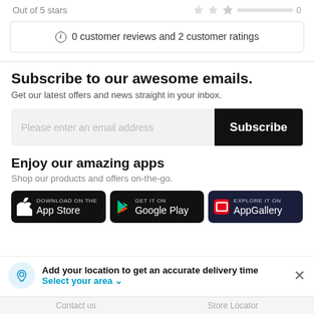Out of 5 stars   0
0 customer reviews and 2 customer ratings
Subscribe to our awesome emails.
Get our latest offers and news straight in your inbox.
Please enter an email address
Subscribe
Enjoy our amazing apps
Shop our products and offers on-the-go.
[Figure (screenshot): App store download badges: App Store, Google Play, AppGallery]
Add your location to get an accurate delivery time
Select your area ∨
Contact us   Store Locator